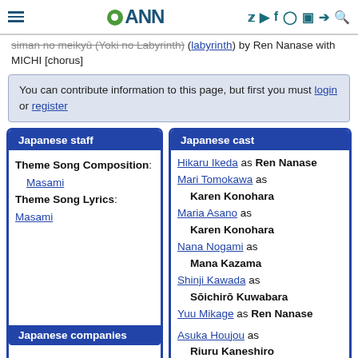ANN
Siman no Meikyū (Yoki no Labyrinth) (labyrinth) by Ren Nanase with MICHI [chorus]
You can contribute information to this page, but first you must login or register
Japanese staff
Theme Song Composition: Masami
Theme Song Lyrics: Masami
Japanese cast
Hikaru Ikeda as Ren Nanase
Mari Tomokawa as Karen Konohara
Maria Asano as Karen Konohara
Nana Nogami as Mana Kazama
Shinji Kawada as Sōichirō Kuwabara
Yuu Mikage as Ren Nanase
Asuka Houjou as Riuru Kaneshiro
Japanese companies